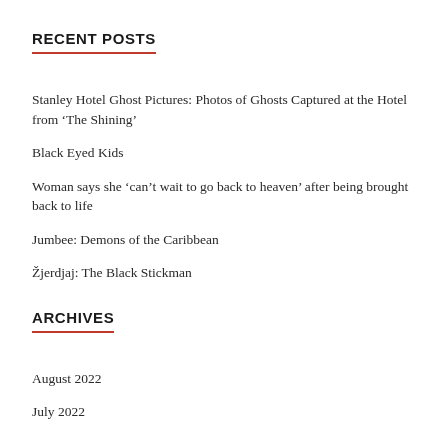RECENT POSTS
Stanley Hotel Ghost Pictures: Photos of Ghosts Captured at the Hotel from ‘The Shining’
Black Eyed Kids
Woman says she ‘can’t wait to go back to heaven’ after being brought back to life
Jumbee: Demons of the Caribbean
Žjerdjaj: The Black Stickman
ARCHIVES
August 2022
July 2022